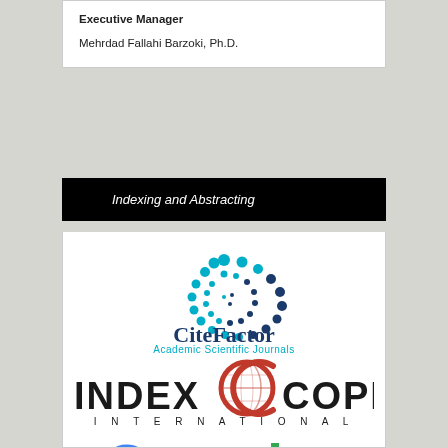Executive Manager
Mehrdad Fallahi Barzoki, Ph.D.
Indexing and Abstracting
[Figure (logo): CiteFactor Academic Scientific Journals logo with blue dot pattern]
[Figure (logo): Index Copernicus International logo]
[Figure (logo): Google logo (partial, cropped at bottom)]